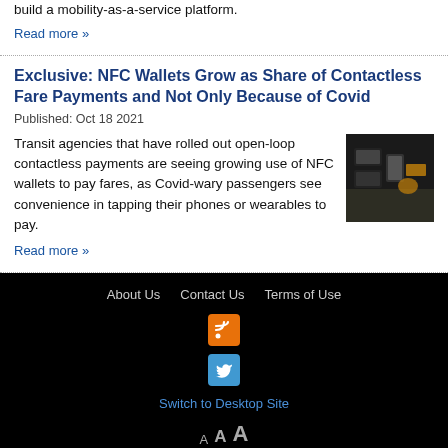build a mobility-as-a-service platform.
Read more »
Exclusive: NFC Wallets Grow as Share of Contactless Fare Payments and Not Only Because of Covid
Published: Oct 18 2021
Transit agencies that have rolled out open-loop contactless payments are seeing growing use of NFC wallets to pay fares, as Covid-wary passengers see convenience in tapping their phones or wearables to pay.
[Figure (photo): Photo of contactless payment terminal with card/phone being tapped]
Read more »
About Us  Contact Us  Terms of Use  Switch to Desktop Site  A A A  Copyright (C) Forthwrite Media SARL and NFC Times 2020